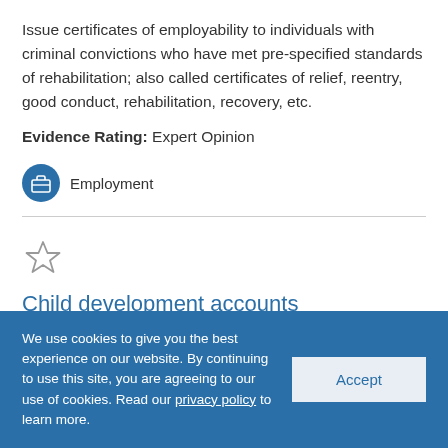Issue certificates of employability to individuals with criminal convictions who have met pre-specified standards of rehabilitation; also called certificates of relief, reentry, good conduct, rehabilitation, recovery, etc.
Evidence Rating:  Expert Opinion
Employment
Child development accounts
We use cookies to give you the best experience on our website. By continuing to use this site, you are agreeing to our use of cookies. Read our privacy policy to learn more.